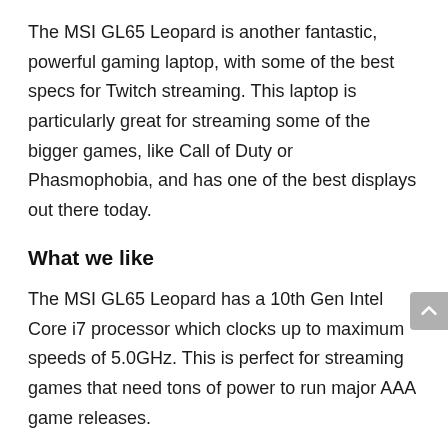The MSI GL65 Leopard is another fantastic, powerful gaming laptop, with some of the best specs for Twitch streaming. This laptop is particularly great for streaming some of the bigger games, like Call of Duty or Phasmophobia, and has one of the best displays out there today.
What we like
The MSI GL65 Leopard has a 10th Gen Intel Core i7 processor which clocks up to maximum speeds of 5.0GHz. This is perfect for streaming games that need tons of power to run major AAA game releases.
With the amount of power this laptop has, the